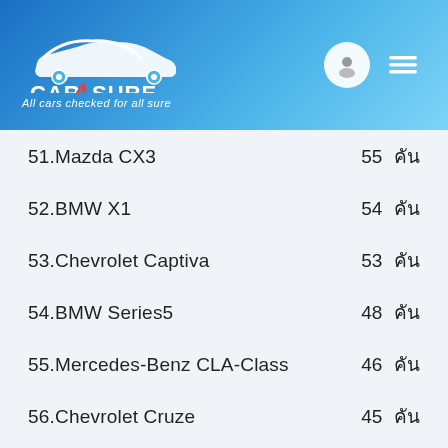CAR4SURE - All cars checked for all sure
51.Mazda CX3   55 คัน
52.BMW X1   54 คัน
53.Chevrolet Captiva   53 คัน
54.BMW Series5   48 คัน
55.Mercedes-Benz CLA-Class   46 คัน
56.Chevrolet Cruze   45 คัน
57.Nissan X-TRAIL   43 คัน
58.Chevolet Sonic   41 คัน
59.Subaru XV   40 คัน